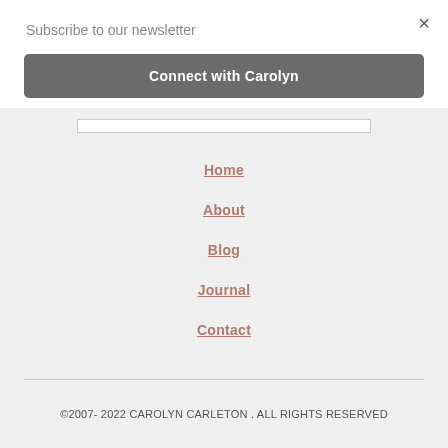Subscribe to our newsletter
×
Connect with Carolyn
Home
About
Blog
Journal
Contact
©2007- 2022 CAROLYN CARLETON . ALL RIGHTS RESERVED